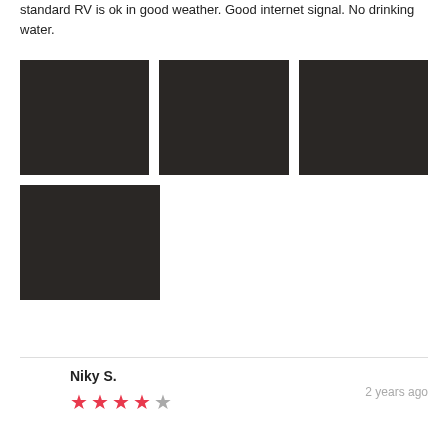standard RV is ok in good weather. Good internet signal. No drinking water.
[Figure (photo): Grid of 4 dark/night photos arranged in two rows: three photos in the top row and one photo in the bottom left]
Niky S.
2 years ago
4 out of 5 stars rating